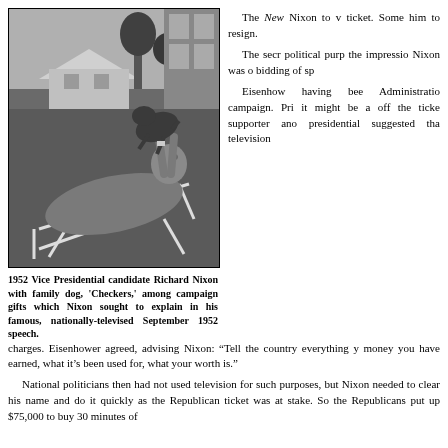[Figure (photo): Black and white photograph of 1952 Vice Presidential candidate Richard Nixon reclining in a lawn chair, holding up a dog (Checkers) outdoors near a house.]
1952 Vice Presidential candidate Richard Nixon with family dog, 'Checkers,' among campaign gifts which Nixon sought to explain in his famous, nationally-televised September 1952 speech.
The New Nixon to v ticket. Some him to resign.
The secr political purp the impressio Nixon was o bidding of sp
Eisenhow having bee Administratio campaign. Pri it might be a off the ticke supporter ano presidential suggested tha television charges. Eisenhower agreed, advising Nixon: “Tell the country everything y money you have earned, what it’s been used for, what your worth is.”
National politicians then had not used television for such purposes, but Nixon needed to clear his name and do it quickly as the Republican ticket was at stake. So the Republicans put up $75,000 to buy 30 minutes of